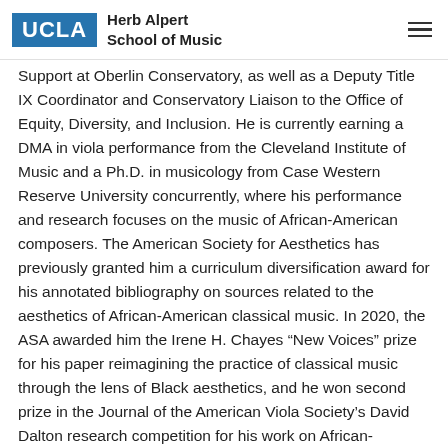UCLA Herb Alpert School of Music
Support at Oberlin Conservatory, as well as a Deputy Title IX Coordinator and Conservatory Liaison to the Office of Equity, Diversity, and Inclusion. He is currently earning a DMA in viola performance from the Cleveland Institute of Music and a Ph.D. in musicology from Case Western Reserve University concurrently, where his performance and research focuses on the music of African-American composers. The American Society for Aesthetics has previously granted him a curriculum diversification award for his annotated bibliography on sources related to the aesthetics of African-American classical music. In 2020, the ASA awarded him the Irene H. Chayes “New Voices” prize for his paper reimagining the practice of classical music through the lens of Black aesthetics, and he won second prize in the Journal of the American Viola Society’s David Dalton research competition for his work on African-American violists of the 20th century.